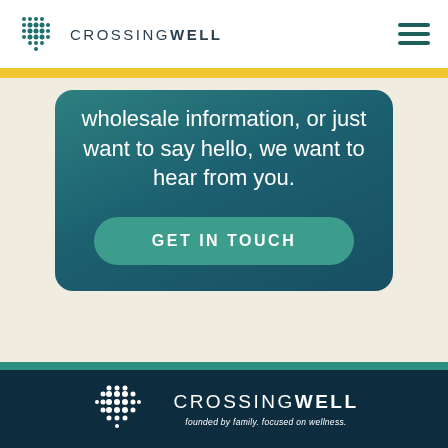[Figure (logo): CrossingWell logo with teal dot grid cross icon and text CROSSING WELL in dark navy letters]
[Figure (screenshot): Teal gradient card with text: wholesale information, or just want to say hello, we want to hear from you. and a GET IN TOUCH button]
wholesale information, or just want to say hello, we want to hear from you.
GET IN TOUCH
[Figure (logo): CrossingWell footer logo on dark navy background with white dot grid cross icon, CROSSING WELL text and tagline: founded by family. focused on wellness.]